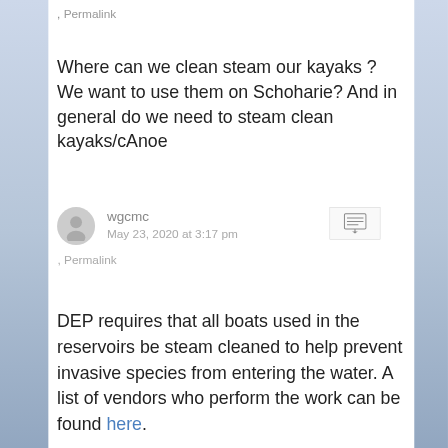, Permalink
Where can we clean steam our kayaks ? We want to use them on Schoharie? And in general do we need to steam clean kayaks/cAnoe
wgcmc
May 23, 2020 at 3:17 pm
, Permalink
DEP requires that all boats used in the reservoirs be steam cleaned to help prevent invasive species from entering the water. A list of vendors who perform the work can be found here.